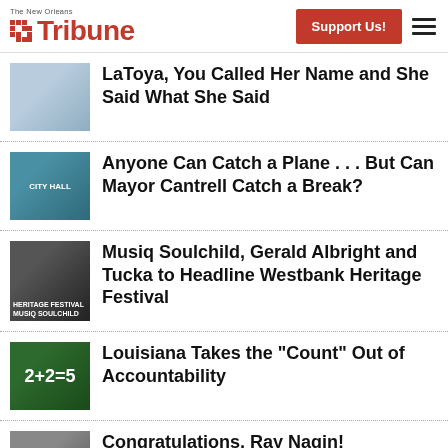The New Orleans Tribune — Support Us! (navigation header)
LaToya, You Called Her Name and She Said What She Said
Anyone Can Catch a Plane . . . But Can Mayor Cantrell Catch a Break?
Musiq Soulchild, Gerald Albright and Tucka to Headline Westbank Heritage Festival
Louisiana Takes the "Count" Out of Accountability
Congratulations, Ray Nagin!